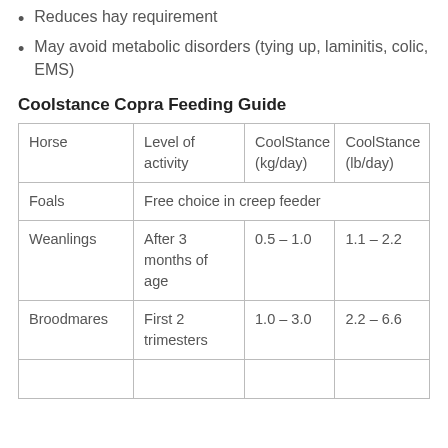Reduces hay requirement
May avoid metabolic disorders (tying up, laminitis, colic, EMS)
Coolstance Copra Feeding Guide
| Horse | Level of activity | CoolStance (kg/day) | CoolStance (lb/day) |
| --- | --- | --- | --- |
| Foals | Free choice in creep feeder |  |  |
| Weanlings | After 3 months of age | 0.5 – 1.0 | 1.1 – 2.2 |
| Broodmares | First 2 trimesters | 1.0 – 3.0 | 2.2 – 6.6 |
|  |  |  |  |